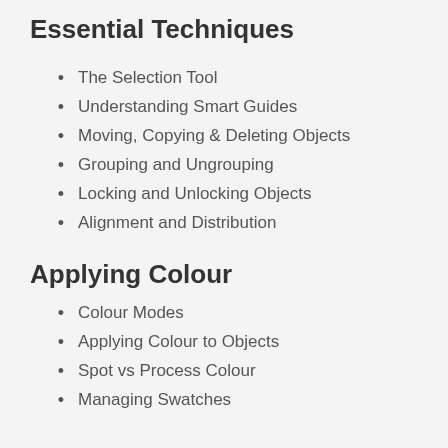Essential Techniques
The Selection Tool
Understanding Smart Guides
Moving, Copying & Deleting Objects
Grouping and Ungrouping
Locking and Unlocking Objects
Alignment and Distribution
Applying Colour
Colour Modes
Applying Colour to Objects
Spot vs Process Colour
Managing Swatches
Document Setup
New Document Options